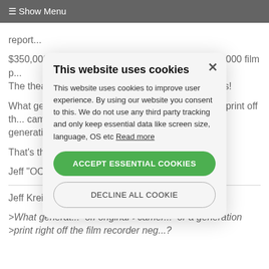☰ Show Menu
report...
$350,000 (give or take) in HD equipment vs. a $25,000 film p... The theatre chains certainly will love those numbers!
What generation is the 35mm print -- is it a contact print off th... camera negativ... irst generation prin... upl generations re...
That's the big is...
Jeff "OCN rules...
Jeff Kreines wro...
>What generat... off original >camer... or a generation >print right off the film recorder neg...?
[Figure (other): Cookie consent modal dialog with title 'This website uses cookies', body text about cookies usage, a green 'ACCEPT ESSENTIAL COOKIES' button, and a 'DECLINE ALL COOKIE' button with close X button in top right.]